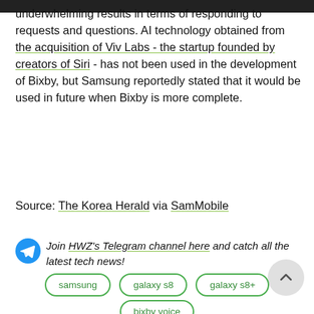underwhelming results in terms of responding to requests and questions. AI technology obtained from the acquisition of Viv Labs - the startup founded by creators of Siri - has not been used in the development of Bixby, but Samsung reportedly stated that it would be used in future when Bixby is more complete.
Source: The Korea Herald via SamMobile
Join HWZ's Telegram channel here and catch all the latest tech news!
samsung
galaxy s8
galaxy s8+
bixby voice